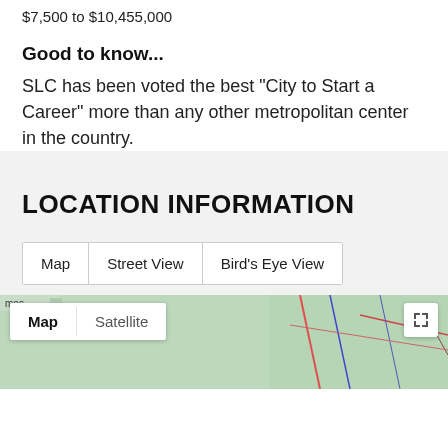$7,500 to $10,455,000
Good to know...
SLC has been voted the best "City to Start a Career" more than any other metropolitan center in the country.
LOCATION INFORMATION
Map | Street View | Bird's Eye View
[Figure (map): Partial map view showing street map with Map/Satellite toggle controls and expand icon, with a map label 'mos' visible at top left of map area.]